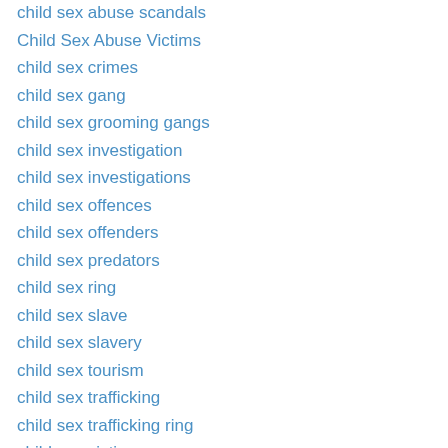child sex abuse scandals
Child Sex Abuse Victims
child sex crimes
child sex gang
child sex grooming gangs
child sex investigation
child sex investigations
child sex offences
child sex offenders
child sex predators
child sex ring
child sex slave
child sex slavery
child sex tourism
child sex trafficking
child sex trafficking ring
child sex victims
Child sex-assault cases
child sexual abuse
Child Sexual Abuse Awareness Conference